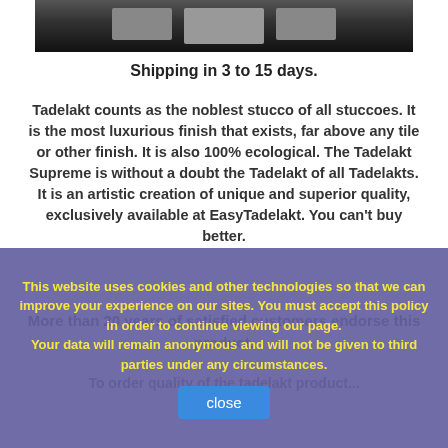[Figure (photo): Partial photo of product boxes/packages on dark background, cropped at top]
Shipping in 3 to 15 days.
Tadelakt counts as the noblest stucco of all stuccoes. It is the most luxurious finish that exists, far above any tile or other finish. It is also 100% ecological. The Tadelakt Supreme is without a doubt the Tadelakt of all Tadelakts. It is an artistic creation of unique and superior quality, exclusively available at EasyTadelakt. You can't buy better.
More than 20 years of satisfied customers endorse this product.
Partial text cut off at bottom
This website uses cookies and other technologies so that we can improve your experience on our sites. You must accept this policy in order to continue viewing our page.
Your data will remain anonymous and will not be given to third parties under any circumstances.
close